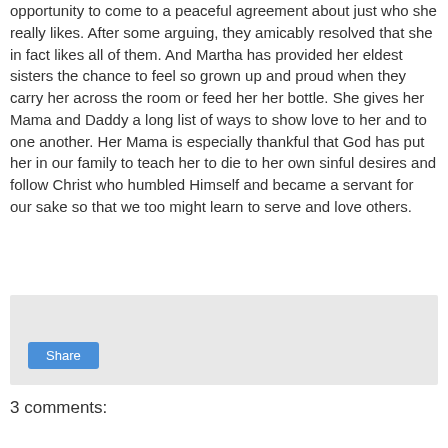opportunity to come to a peaceful agreement about just who she really likes. After some arguing, they amicably resolved that she in fact likes all of them. And Martha has provided her eldest sisters the chance to feel so grown up and proud when they carry her across the room or feed her her bottle. She gives her Mama and Daddy a long list of ways to show love to her and to one another. Her Mama is especially thankful that God has put her in our family to teach her to die to her own sinful desires and follow Christ who humbled Himself and became a servant for our sake so that we too might learn to serve and love others.
[Figure (other): Light gray box with a blue Share button]
3 comments: